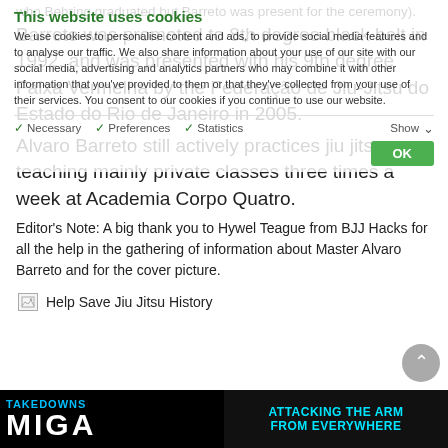who Behring graduated but Barreto was present for the ceremony).
Barreto was promoted to 8th degree black belt in 1992, and was presented with his 9th degree Faixa Vermelha by the Federação de Jiu-Jitsu do Estado do Rio de Janeiro in 2005.
Alvaro Barreto still actively practices jiu jitsu, teaching mainly private classes three times a week at Academia Corpo Quatro.
Editor's Note: A big thank you to Hywel Teague from BJJ Hacks for all the help in the gathering of information about Master Alvaro Barreto and for the cover picture.
[Figure (screenshot): Broken image icon followed by text: Help Save Jiu Jitsu History]
[Figure (screenshot): Banner image: left side shows TAKEDOWNS and MIGA text in blue/white on black, right side shows ATTACKING THE ARM FROM EVERYWHERE in cyan on dark background]